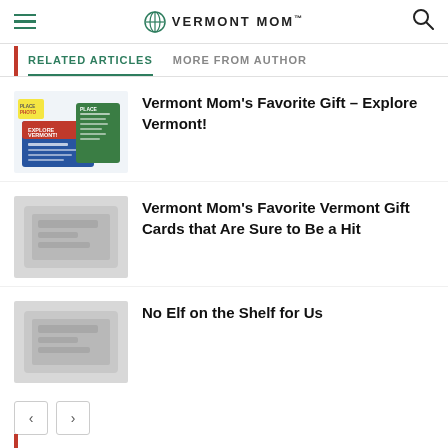Vermont Mom
RELATED ARTICLES   MORE FROM AUTHOR
[Figure (illustration): Explore Vermont card/ticket graphic with colorful cards]
Vermont Mom's Favorite Gift – Explore Vermont!
[Figure (photo): Thumbnail image for Vermont gift cards article, greyed out]
Vermont Mom's Favorite Vermont Gift Cards that Are Sure to Be a Hit
[Figure (photo): Thumbnail image for No Elf on the Shelf article, greyed out]
No Elf on the Shelf for Us